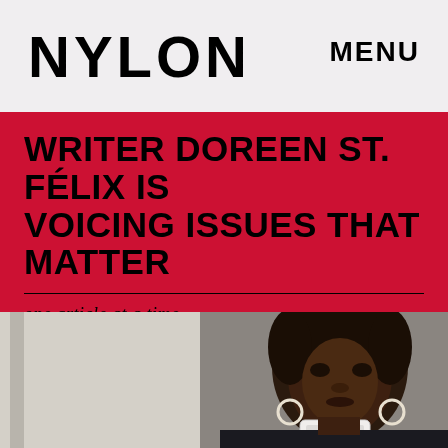NYLON
MENU
WRITER DOREEN ST. FÉLIX IS VOICING ISSUES THAT MATTER
one article at a time
[Figure (photo): A young Black woman taking a mirror selfie with a white smartphone. She has braided hair and hoop earrings, wearing dark clothing. The background shows a light-colored wall and door.]